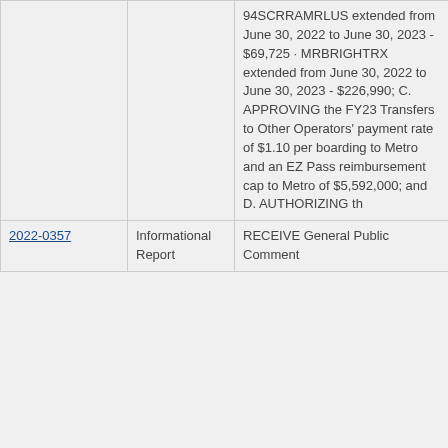|  |  | Description |  |
| --- | --- | --- | --- |
|  |  | 94SCRRAMRLUS extended from June 30, 2022 to June 30, 2023 - $69,725 · MRBRIGHTRX extended from June 30, 2022 to June 30, 2023 - $226,990; C. APPROVING the FY23 Transfers to Other Operators' payment rate of $1.10 per boarding to Metro and an EZ Pass reimbursement cap to Metro of $5,592,000; and D. AUTHORIZING th |  |
| 2022-0357 | Informational Report | RECEIVE General Public Comment |  |